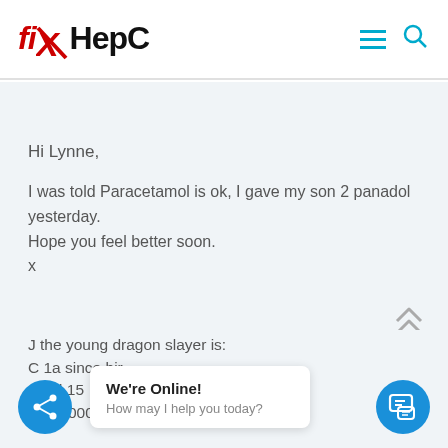[Figure (logo): fiXHepC logo in red and black stylized text with X strikethrough]
Hi Lynne,
I was told Paracetamol is ok, I gave my son 2 panadol yesterday.
Hope you feel better soon.
x
J the young dragon slayer is:
C 1a since bir...
aged 15
VL 2000000
We're Online!
How may I help you today?